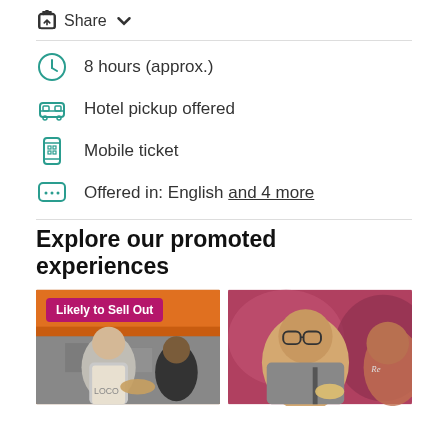Share
8 hours (approx.)
Hotel pickup offered
Mobile ticket
Offered in: English and 4 more
Explore our promoted experiences
[Figure (photo): Photo of people at a market food stall with 'Likely to Sell Out' badge]
[Figure (photo): Photo of a young man with glasses eating a snack at a food stall]